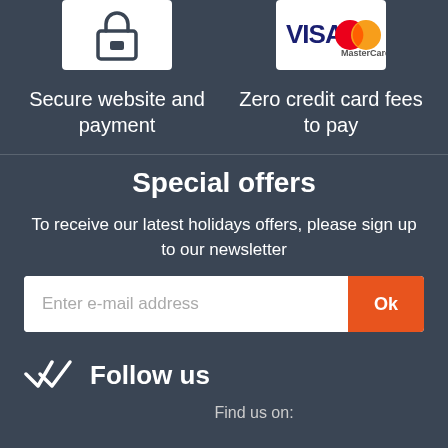[Figure (illustration): Lock/secure icon in white box]
Secure website and payment
[Figure (illustration): Visa and MasterCard logos in white box]
Zero credit card fees to pay
Special offers
To receive our latest holidays offers, please sign up to our newsletter
Enter e-mail address
Follow us
Find us on: